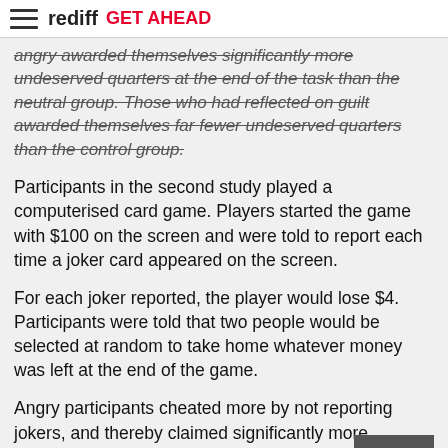rediff GET AHEAD
angry awarded themselves significantly more undeserved quarters at the end of the task than the neutral group. Those who had reflected on guilt awarded themselves far fewer undeserved quarters than the control group.
Participants in the second study played a computerised card game. Players started the game with $100 on the screen and were told to report each time a joker card appeared on the screen.
For each joker reported, the player would lose $4. Participants were told that two people would be selected at random to take home whatever money was left at the end of the game.
Angry participants cheated more by not reporting jokers, and thereby claimed significantly more undeserved money, while guilty individuals claimed less undeserved money than the neutral group.
In the second study, researchers also used a Cognitive Reflection Test to show how anger and guilt differently affect processing. The test included a series of questions,